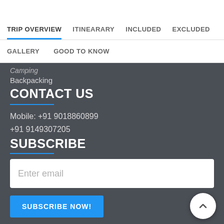TRIP OVERVIEW  ITINEARARY  INCLUDED  EXCLUDED
GALLERY  GOOD TO KNOW
Camping
Backpacking
CONTACT US
Mobile: +91 9018860899
+91 9149307205
SUBSCRIBE
Enter email
SUBSCRIBE NOW!